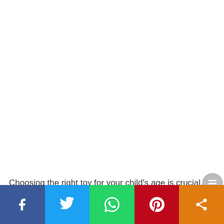Choosing the right toy for your child’s age is crucial. You can buy toys for a wide range of
[Figure (infographic): Social media sharing bar with Facebook, Twitter, WhatsApp, Pinterest, and Share buttons at the bottom of the page]